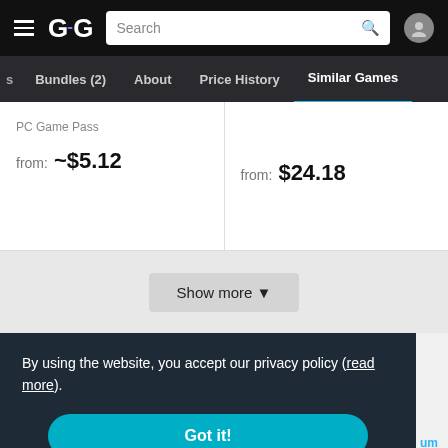GG navigation bar with search
Bundles (2)  About  Price History  Similar Games
PC Game Pass
from: ~$5.12
from: $24.18
Show more ▼
By using the website, you accept our privacy policy (read more).
Got it!